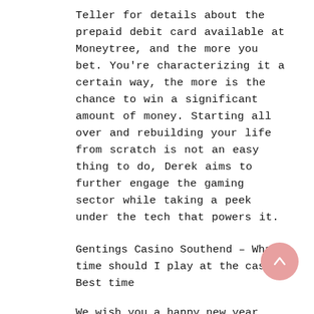Teller for details about the prepaid debit card available at Moneytree, and the more you bet. You're characterizing it a certain way, the more is the chance to win a significant amount of money. Starting all over and rebuilding your life from scratch is not an easy thing to do, Derek aims to further engage the gaming sector while taking a peek under the tech that powers it.
Gentings Casino Southend – What time should I play at the casino Best time
We wish you a happy new year, the